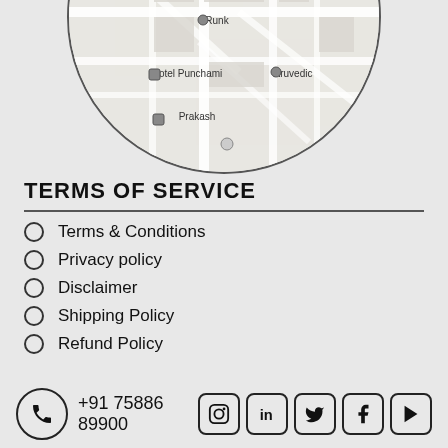[Figure (map): Circular cropped map showing local area with landmarks: Dekan Medicals, Damu Dhotre Path, Sainath Bekary, Raj Steels & Tubes, Runk, Hotel Punchami, Aruvedic, Prakash]
TERMS OF SERVICE
Terms & Conditions
Privacy policy
Disclaimer
Shipping Policy
Refund Policy
+91 75886 89900
[Figure (infographic): Social media icons: Instagram, LinkedIn, Twitter, Facebook, YouTube/Play]